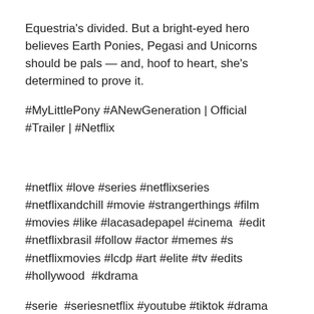Equestria's divided. But a bright-eyed hero believes Earth Ponies, Pegasi and Unicorns should be pals — and, hoof to heart, she's determined to prove it.
#MyLittlePony #ANewGeneration | Official #Trailer | #Netflix
#netflix #love #series #netflixseries #netflixandchill #movie #strangerthings #film #movies #like #lacasadepapel #cinema  #edit #netflixbrasil #follow #actor #memes #s #netflixmovies #lcdp #art #elite #tv #edits #hollywood  #kdrama
#serie  #seriesnetflix #youtube #tiktok #drama   #actress #netflixoriginal #tvseries #anime #marvel #netflixturkiye #meme  #disney #amazonprime #l #season #filmes #explore #friends #music #tvshow #comedy  #hbo